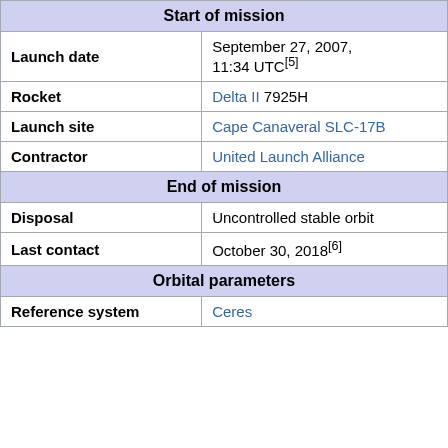| Start of mission |  |
| Launch date | September 27, 2007, 11:34 UTC[5] |
| Rocket | Delta II 7925H |
| Launch site | Cape Canaveral SLC-17B |
| Contractor | United Launch Alliance |
| End of mission |  |
| Disposal | Uncontrolled stable orbit |
| Last contact | October 30, 2018[6] |
| Orbital parameters |  |
| Reference system | Ceres |